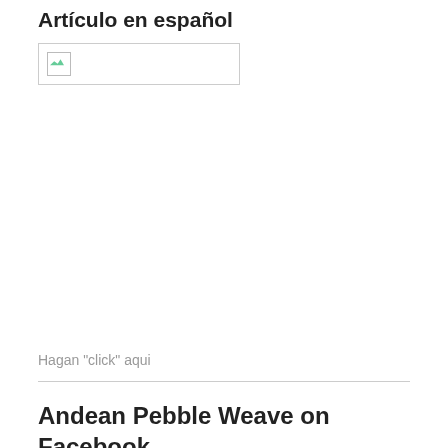Artículo en español
[Figure (photo): Broken image placeholder box with small image icon]
Hagan "click" aqui
[Figure (photo): Colorful Andean pebble weave textile with geometric diamond patterns in red, orange, yellow, purple and blue]
Andean Pebble Weave on Facebook